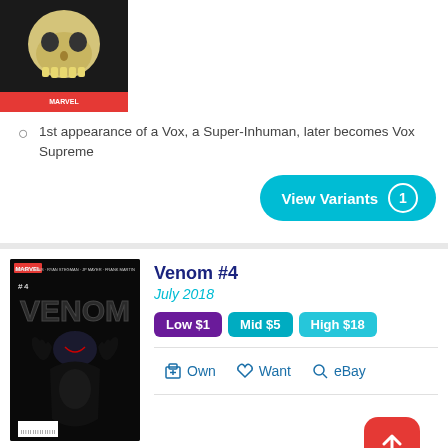[Figure (photo): Comic book cover partially visible showing a golden skull on a dark/red background with Marvel logo at bottom]
1st appearance of a Vox, a Super-Inhuman, later becomes Vox Supreme
View Variants 1
Venom #4
July 2018
Low $1  Mid $5  High $18
Own  Want  eBay
[Figure (photo): Venom #4 comic book cover showing Venom character in dark tones with barcode at bottom]
Origin of Knull
Origin of Knowhere, the severed head of a Celestial